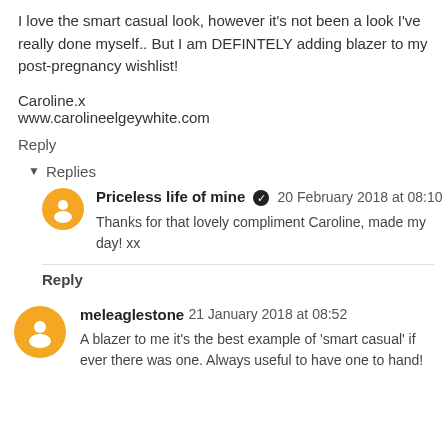I love the smart casual look, however it's not been a look I've really done myself.. But I am DEFINTELY adding blazer to my post-pregnancy wishlist!
Caroline.x
www.carolineelgeywhite.com
Reply
Replies
Priceless life of mine  20 February 2018 at 08:10
Thanks for that lovely compliment Caroline, made my day! xx
Reply
meleaglestone  21 January 2018 at 08:52
A blazer to me it's the best example of 'smart casual' if ever there was one. Always useful to have one to hand!